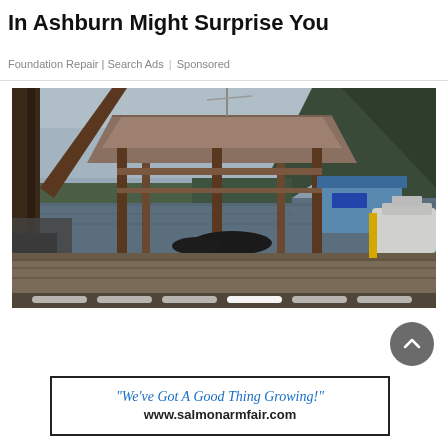In Ashburn Might Surprise You
Foundation Repair | Search Ads | Sponsored
[Figure (photo): Marina scene with wooden gazebo/dock structure in foreground, jet skis and boats on water, blue-roofed building, mountains and cloudy sky in background. Slideshow navigation dots at the bottom.]
[Figure (other): Circular scroll-to-top button with upward chevron arrow, dark gray background]
"We've Got A Good Thing Growing!" www.salmonarmfair.com